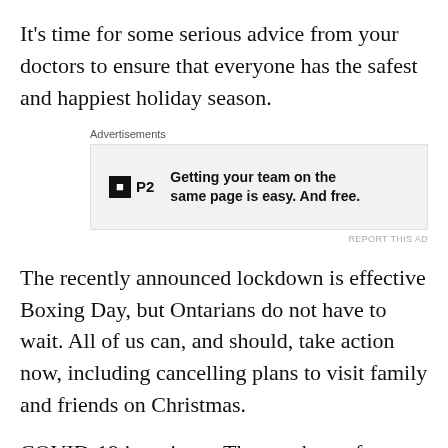It's time for some serious advice from your doctors to ensure that everyone has the safest and happiest holiday season.
[Figure (other): Advertisement banner for P2 product: logo with black square containing 'P' and text 'P2', with copy reading 'Getting your team on the same page is easy. And free.']
The recently announced lockdown is effective Boxing Day, but Ontarians do not have to wait. All of us can, and should, take action now, including cancelling plans to visit family and friends on Christmas.
COVID-19 is serious.  The numbers of Ontarians confirmed positive for COVID, hospitalized